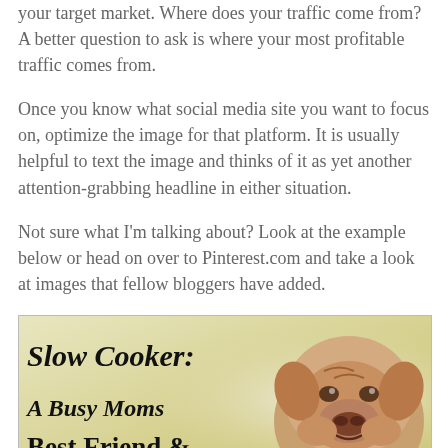your target market. Where does your traffic come from? A better question to ask is where your most profitable traffic comes from.
Once you know what social media site you want to focus on, optimize the image for that platform. It is usually helpful to text the image and thinks of it as yet another attention-grabbing headline in either situation.
Not sure what I'm talking about? Look at the example below or head on over to Pinterest.com and take a look at images that fellow bloggers have added.
[Figure (illustration): Example Pinterest-style image showing 'Slow Cooker: A Busy Moms Best Friend &' text overlay on a yellowish background with a bulldog photo on the right side.]